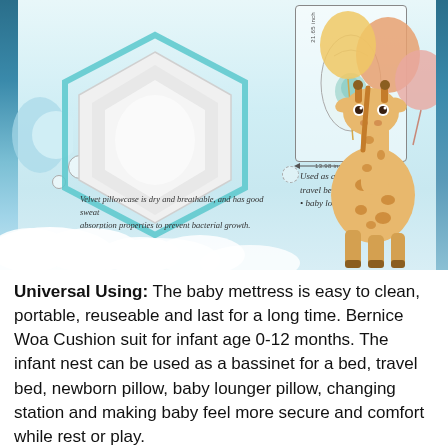[Figure (illustration): Baby product infographic showing a hexagonal velvet pillow/cushion with dimension diagram (21.65 inch height, 13.98 inch width), bullet list of uses (bassinet for a bed, travel bed, newborn pillow, baby lounger pillow), text about velvet pillowcase properties, and a cartoon giraffe with balloons on a pastel blue sky background with clouds.]
Universal Using: The baby mettress is easy to clean, portable, reuseable and last for a long time. Bernice Woa Cushion suit for infant age 0-12 months. The infant nest can be used as a bassinet for a bed, travel bed, newborn pillow, baby lounger pillow, changing station and making baby feel more secure and comfort while rest or play.